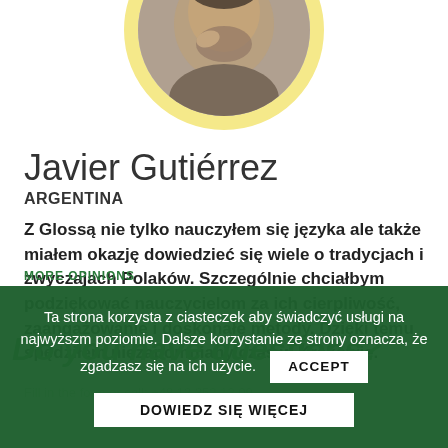[Figure (photo): Circular profile photo of Javier Gutiérrez, a man with a beard resting his hand near his chin, with a yellowish circular border]
Javier Gutiérrez
ARGENTINA
Z Glossą nie tylko nauczyłem się języka ale także miałem okazję dowiedzieć się wiele o tradycjach i zwyczajach Polaków. Szczególnie chciałbym podziękować nauczycielom za ich cierpliwość, zaangażowanie i doskonałe metody. Dzięki temu spędziłem niezapomniany czas w Krakowie.
Ta strona korzysta z ciasteczek aby świadczyć usługi na najwyższm poziomie. Dalsze korzystanie ze strony oznacza, że zgadzasz się na ich użycie. ACCEPT
DOWIEDZ SIĘ WIĘCEJ
Do you have questions?
Fill in the form or call: +48 12 352 12 09